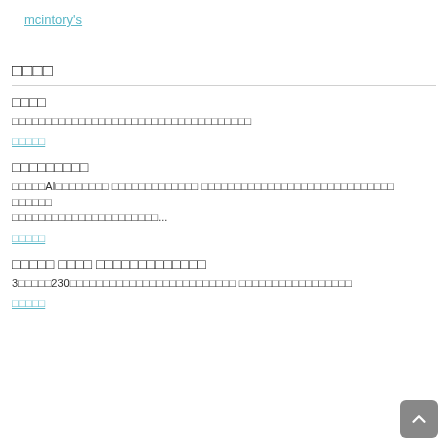mcintory's
□□□□
□□□□
□□□□□□□□□□□□□□□□□□□□□□□□□□□□□□□□□□□□
□□□□□
□□□□□□□□□
□□□□□AI□□□□□□□□ □□□□□□□□□□□□□ □□□□□□□□□□□□□□□□□□□□□□□□□□□□□ □□□□□□□□□□□□□□□□□□□□□□□□...
□□□□□
□□□□□ □□□□ □□□□□□□□□□□□□
3□□□□□230□□□□□□□□□□□□□□□□□□□□□□□□□ □□□□□□□□□□□□□□□□□
□□□□□